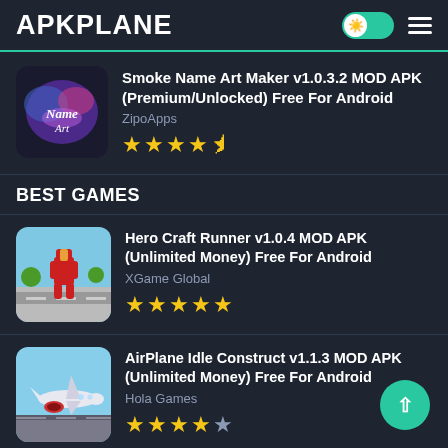APKPLANE
Smoke Name Art Maker v1.0.3.2 MOD APK (Premium/Unlocked) Free For Android
ZipoApps
★★★★☆
BEST GAMES
Hero Craft Runner v1.0.4 MOD APK (Unlimited Money) Free For Android
XGame Global
★★★★★
AirPlane Idle Construct v1.1.3 MOD APK (Unlimited Money) Free For Android
Hola Games
★★★★☆